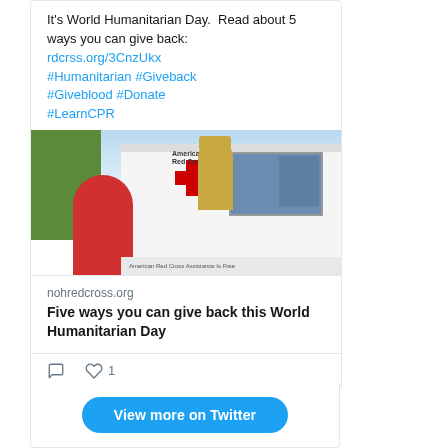It's World Humanitarian Day. Read about 5 ways you can give back: rdcrss.org/3CnzUkx #Humanitarian #Giveback #Giveblood #Donate #LearnCPR
[Figure (photo): American Red Cross disaster relief vehicle with a volunteer handing items to a person in a red shirt]
nohredcross.org
Five ways you can give back this World Humanitarian Day
1 (like)
View more on Twitter